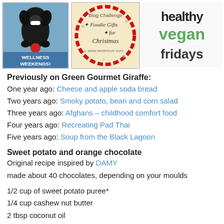[Figure (illustration): Three blog badge images side by side: (1) Wellness Weekends badge with a black dog holding a red ball, (2) Blog Challenge Foodie Gifts for Christmas badge from larderlove.com, (3) Healthy Vegan Fridays text badge]
Previously on Green Gourmet Giraffe:
One year ago: Cheese and apple soda bread
Two years ago: Smoky potato, bean and corn salad
Three years ago: Afghans – childhood comfort food
Four years ago: Recreating Pad Thai
Five years ago: Soup from the Black Lagoon
Sweet potato and orange chocolate
Original recipe inspired by DAMY
made about 40 chocolates, depending on your moulds
1/2 cup of sweet potato puree*
1/4 cup cashew nut butter
2 tbsp coconut oil